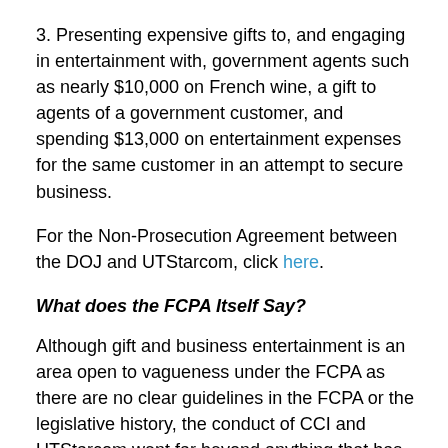3. Presenting expensive gifts to, and engaging in entertainment with, government agents such as nearly $10,000 on French wine, a gift to agents of a government customer, and spending $13,000 on entertainment expenses for the same customer in an attempt to secure business.
For the Non-Prosecution Agreement between the DOJ and UTStarcom, click here.
What does the FCPA Itself Say?
Although gift and business entertainment is an area open to vagueness under the FCPA as there are no clear guidelines in the FCPA or the legislative history, the conduct of CCI and UTStarcom went far beyond anything that has been previously approved or discussed in any FCPA Opinion Release. While guidelines are open...